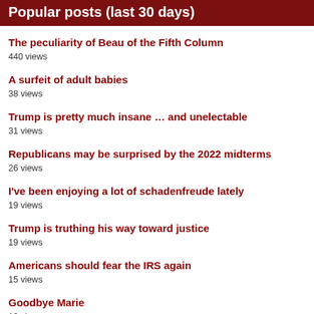Popular posts (last 30 days)
The peculiarity of Beau of the Fifth Column
440 views
A surfeit of adult babies
38 views
Trump is pretty much insane … and unelectable
31 views
Republicans may be surprised by the 2022 midterms
26 views
I've been enjoying a lot of schadenfreude lately
19 views
Trump is truthing his way toward justice
19 views
Americans should fear the IRS again
15 views
Goodbye Marie
13 views